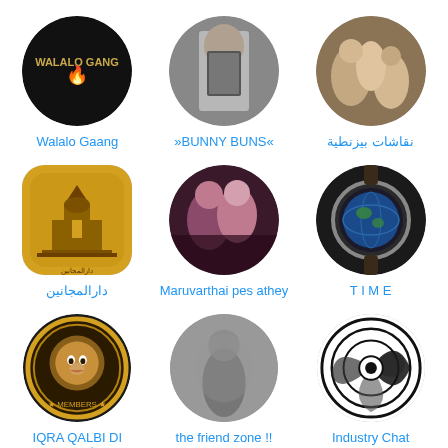[Figure (screenshot): Grid of Telegram channel avatars with names. Row 1: Walalo Gaang (black circle with text), BUNNY BUNS (person with phone), نقاشات بيزنطية (classical painting). Row 2: دارالمجانين (Arabic building logo), Maruvarthai pes athey (couple photo), T I M E (watch with globe). Row 3: IQRA QALBI DI AMOND ĆLÜB (lion logo), the friend zone !! (blurred figure), Industry Chat (camera lens). Row 4 partial: person in Adidas, symbol, red circle.]
Walalo Gaang
»BUNNY BUNS«
نقاشات بيزنطية
دارالمجانين
Maruvarthai pes athey
T I M E
IQRA QALBI DI AMOND ĆLÜB
the friend zone !!
Industry Chat